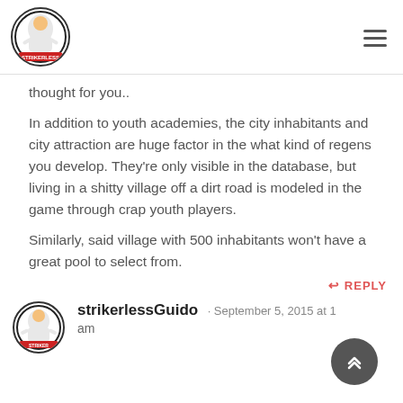Strikerless logo and navigation menu
thought for you..
In addition to youth academies, the city inhabitants and city attraction are huge factor in the what kind of regens you develop. They're only visible in the database, but living in a shitty village off a dirt road is modeled in the game through crap youth players.
Similarly, said village with 500 inhabitants won't have a great pool to select from.
↩ REPLY
strikerlessGuido · September 5, 2015 at 1... am